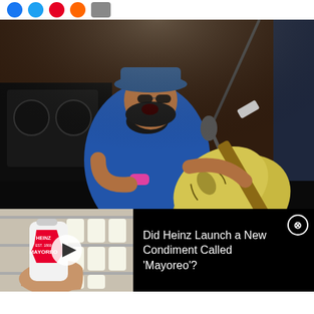[Figure (other): Social media sharing icons: Facebook (blue circle), Twitter (light blue circle), Pinterest (red circle), Email/Reddit (orange circle), Share (grey rounded rectangle)]
[Figure (photo): Concert photo of a musician wearing a blue t-shirt and blue hat, singing into a microphone and playing a yellow hollow-body electric guitar on a dark stage with an amplifier in the background]
[Figure (photo): Advertisement thumbnail image showing a hand holding a Heinz Mayoreo condiment bottle in front of store shelves stocked with mayonnaise jars, with a play button overlay]
Did Heinz Launch a New Condiment Called 'Mayoreo'?